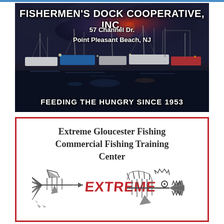[Figure (illustration): Fishermen's Dock Cooperative, Inc. advertisement showing a harbor at dusk/night with fishing boats docked. Dark stormy sky with dramatic lighting. Text overlay: FISHERMEN'S DOCK COOPERATIVE, INC. / 57 Channel Dr. / Point Pleasant Beach, NJ / FEEDING THE HUNGRY SINCE 1953]
[Figure (logo): Extreme Gloucester Fishing Commercial Fishing Training Center advertisement with a stylized fish skeleton logo incorporating the word EXTREME in red, with dark gray fish body and spiky fins.]